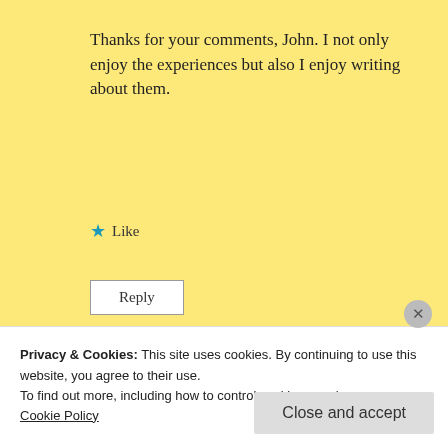Thanks for your comments, John. I not only enjoy the experiences but also I enjoy writing about them.
★ Like
Reply
Advertisements
[Figure (illustration): Advertisement banner with gradient blue-purple background and text 'Simplified pricing for']
Privacy & Cookies: This site uses cookies. By continuing to use this website, you agree to their use.
To find out more, including how to control cookies, see here:
Cookie Policy
Close and accept